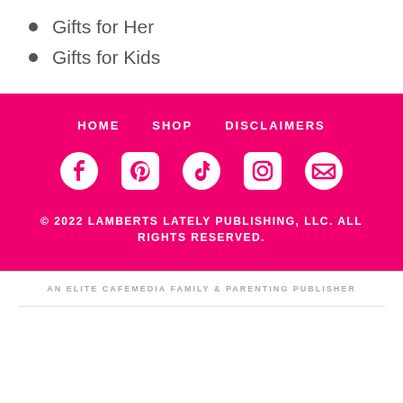Gifts for Her
Gifts for Kids
HOME  SHOP  DISCLAIMERS
[Figure (infographic): Social media icons: Facebook, Pinterest, TikTok, Instagram, Email]
© 2022 LAMBERTS LATELY PUBLISHING, LLC. ALL RIGHTS RESERVED.
AN ELITE CAFEMEDIA FAMILY & PARENTING PUBLISHER